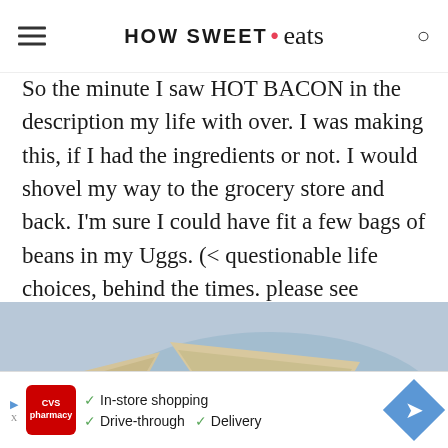HOW SWEET eats
So the minute I saw HOT BACON in the description my life with over. I was making this, if I had the ingredients or not. I would shovel my way to the grocery store and back. I'm sure I could have fit a few bags of beans in my Uggs. (< questionable life choices, behind the times. please see above.)
[Figure (photo): Close-up photo of triangular flatbread/crackers topped with dark ingredients, served on a plate with red tomato salsa in the foreground]
[Figure (other): CVS Pharmacy advertisement banner showing In-store shopping, Drive-through, and Delivery checkmarks with navigation arrow]